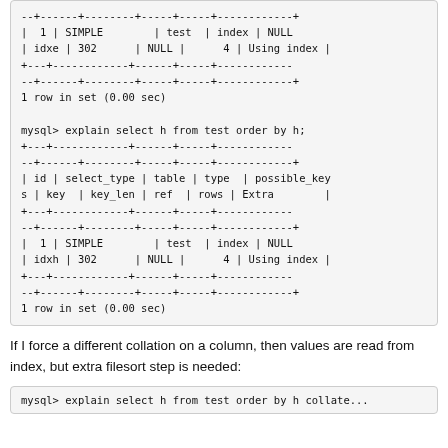--+------+--------+-----+-----+------------+
|  1 | SIMPLE        | test  | index | NULL
| idxe | 302      | NULL |      4 | Using index |
+---+------------+------+-----+------------
--+------+--------+-----+-----+------------+
1 row in set (0.00 sec)

mysql> explain select h from test order by h;
+---+------------+------+-----+------------
--+------+--------+-----+-----+------------+
| id | select_type | table | type  | possible_key
s | key  | key_len | ref  | rows | Extra        |
+---+------------+------+-----+------------
--+------+--------+-----+-----+------------+
|  1 | SIMPLE        | test  | index | NULL
| idxh | 302      | NULL |      4 | Using index |
+---+------------+------+-----+------------
--+------+--------+-----+-----+------------+
1 row in set (0.00 sec)
If I force a different collation on a column, then values are read from index, but extra filesort step is needed:
mysql> explain select h from test order by h collate...